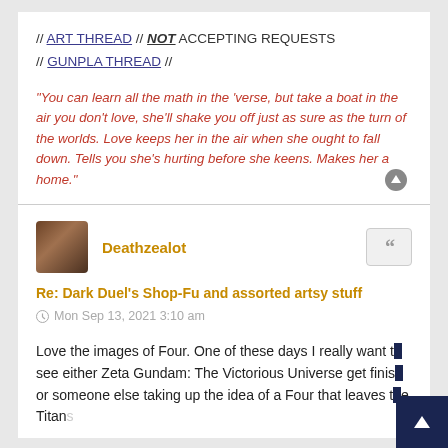// ART THREAD // NOT ACCEPTING REQUESTS // GUNPLA THREAD //
"You can learn all the math in the 'verse, but take a boat in the air you don't love, she'll shake you off just as sure as the turn of the worlds. Love keeps her in the air when she ought to fall down. Tells you she's hurting before she keens. Makes her a home."
Deathzealot
Re: Dark Duel's Shop-Fu and assorted artsy stuff
Mon Sep 13, 2021 3:10 am
Love the images of Four. One of these days I really want to see either Zeta Gundam: The Victorious Universe get finished or someone else taking up the idea of a Four that leaves the Titans...